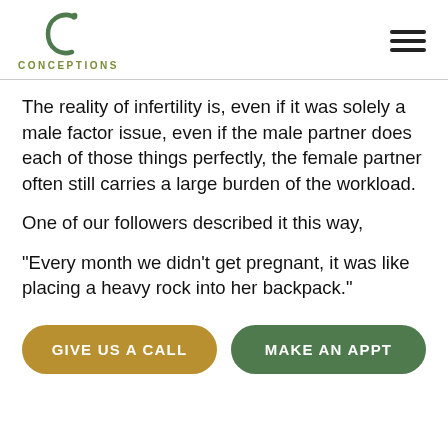CONCEPTIONS
The reality of infertility is, even if it was solely a male factor issue, even if the male partner does each of those things perfectly, the female partner often still carries a large burden of the workload.
One of our followers described it this way,
“Every month we didn’t get pregnant, it was like placing a heavy rock into her backpack.”
GIVE US A CALL
MAKE AN APPT